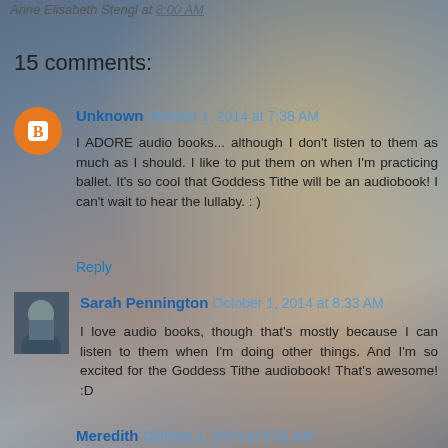Anne Elisabeth Stengl at 8:00 AM
15 comments:
Unknown October 1, 2014 at 7:38 AM
I ADORE audio books... although I don't listen to them as much as I should. I like to put them on when I'm practicing ballet. It's so cool that Goddess Tithe will be an audiobook! I can't wait to hear the lullaby. : )
Reply
Sarah Pennington October 1, 2014 at 8:33 AM
I love audio books, though that's mostly because I can listen to them when I'm doing other things. And I'm so excited for the Goddess Tithe audiobook! That's awesome! :D
Reply
Meredith October 1, 2014 at 9:51 AM